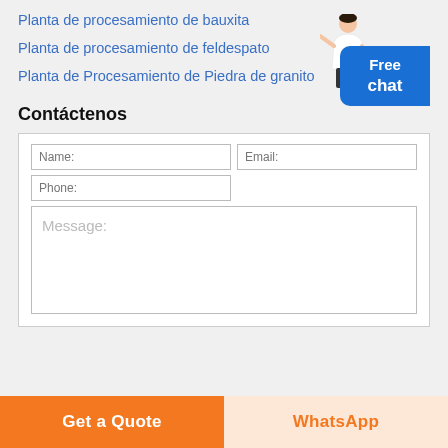Planta de procesamiento de bauxita
Planta de procesamiento de feldespato
Planta de Procesamiento de Piedra de granito
Contáctenos
Name: | Email: | Phone: | Message:
Free chat
Get a Quote
WhatsApp